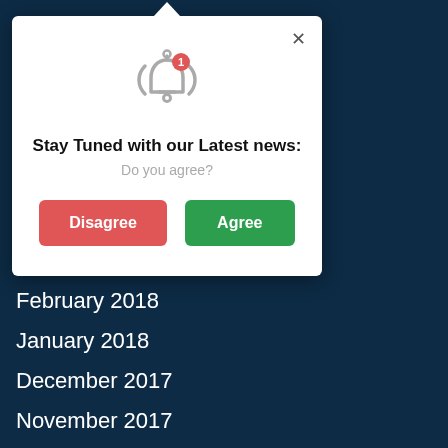[Figure (screenshot): Modal notification popup with bell icon, 'Stay Tuned with our Latest news:' title, 'Do you agree?' subtitle, and Disagree/Agree buttons]
Stay Tuned with our Latest news:
Do you agree?
March 2018
February 2018
January 2018
December 2017
November 2017
September 2017